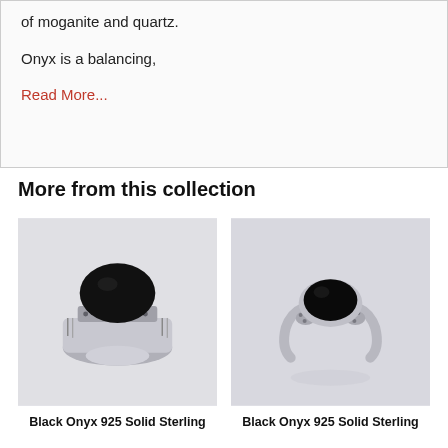of moganite and quartz.
Onyx is a balancing,
Read More...
More from this collection
[Figure (photo): Black onyx 925 solid sterling silver ring with ornate filigree band, side view showing black oval stone]
Black Onyx 925 Solid Sterling
[Figure (photo): Black onyx 925 solid sterling silver ring with decorative shoulders, front view showing black oval stone]
Black Onyx 925 Solid Sterling